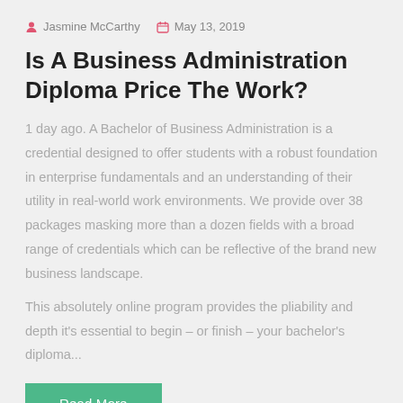Jasmine McCarthy  May 13, 2019
Is A Business Administration Diploma Price The Work?
1 day ago. A Bachelor of Business Administration is a credential designed to offer students with a robust foundation in enterprise fundamentals and an understanding of their utility in real-world work environments. We provide over 38 packages masking more than a dozen fields with a broad range of credentials which can be reflective of the brand new business landscape.
This absolutely online program provides the pliability and depth it's essential to begin – or finish – your bachelor's diploma...
Read More